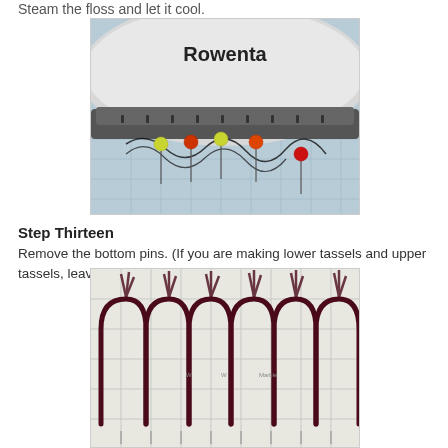Steam the floss and let it cool.
[Figure (photo): A Rowenta steam iron positioned above a grid mat with colorful pins holding dark threads in place. Pins include yellow, orange, and red beads.]
Step Thirteen
Remove the bottom pins. (If you are making lower tassels and upper tassels, leave the pins and go to step 14.)
[Figure (photo): Dark burgundy/maroon thread looped in a zigzag pattern over pins on a grid mat, showing multiple tassel loops.]